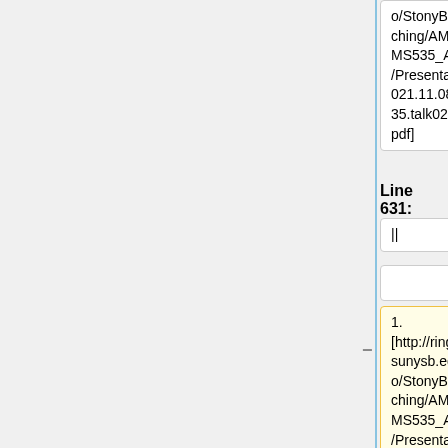o/StonyBrook/teaching/AMS532_AMS535_AMS536/Presentations/2021.11.08.AMS535.talk02.pdf pdf]
o/StonyBrook/teaching/AMS532_AMS535_AMS536/Presentations/2021.11.08.AMS535.talk02.pdf pdf]
Line 631:
Line 636:
||
||
1. [http://ringo.ams.sunysb.edu/~rizzo/StonyBrook/teaching/AMS532_AMS535_AMS536/Presentations/2021.11.10.AMS535.talk01.mp4 Last, First mp4]
1. [http://ringo.ams.sunysb.edu/~rizzo/StonyBrook/teaching/AMS532_AMS535_AMS536/Presentations/2021.11.10.AMS535.talk01.mp4 Kochert,